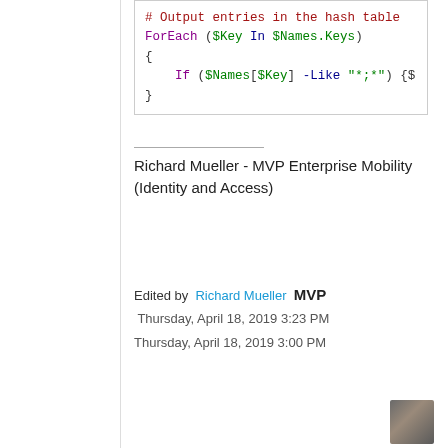[Figure (screenshot): Code block showing PowerShell snippet with comments, ForEach loop, and If statement using colored syntax highlighting]
Richard Mueller - MVP Enterprise Mobility (Identity and Access)
Edited by Richard Mueller MVP Thursday, April 18, 2019 3:23 PM
Thursday, April 18, 2019 3:00 PM
[Figure (photo): Small avatar image of a cat or animal, used as user profile photo]